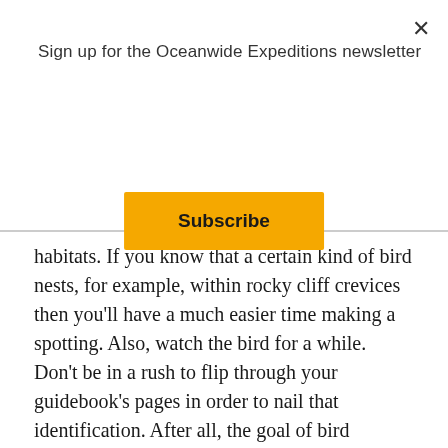Sign up for the Oceanwide Expeditions newsletter
Subscribe
habitats. If you know that a certain kind of bird nests, for example, within rocky cliff crevices then you'll have a much easier time making a spotting. Also, watch the bird for a while. Don't be in a rush to flip through your guidebook's pages in order to nail that identification. After all, the goal of bird watching is to enjoy the bird itself. Besides, the more you watch the bird, the more points you'll pick up that you can use for picking it out in your guide.
Here are the general steps you take for